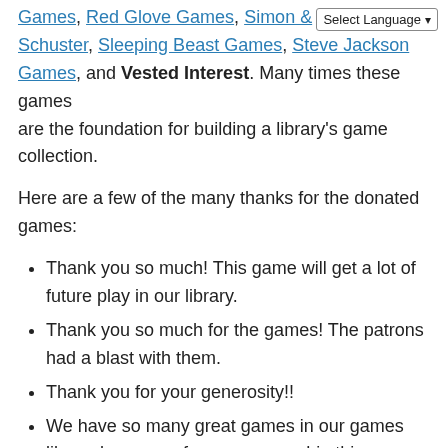Games, Red Glove Games, Simon & Schuster, Sleeping Beast Games, Steve Jackson Games, and Vested Interest. Many times these games are the foundation for building a library's game collection.
Here are a few of the many thanks for the donated games:
Thank you so much! This game will get a lot of future play in our library.
Thank you so much for the games! The patrons had a blast with them.
Thank you for your generosity!!
We have so many great games in our games library because of your sponsorship this year and in the past. Thank you!!